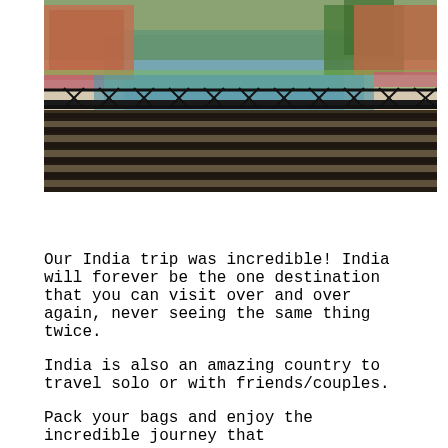[Figure (photo): Outdoor photo taken from a balcony or elevated walkway overlooking a green pond/lake surrounded by tropical resort buildings, pink flowering plants, and palm trees. The foreground shows a tiled terrace floor with dramatic shadow stripes from a railing or pergola structure. A black metal railing runs horizontally across the midground.]
Our India trip was incredible! India will forever be the one destination that you can visit over and over again, never seeing the same thing twice.
India is also an amazing country to travel solo or with friends/couples.
Pack your bags and enjoy the incredible journey that